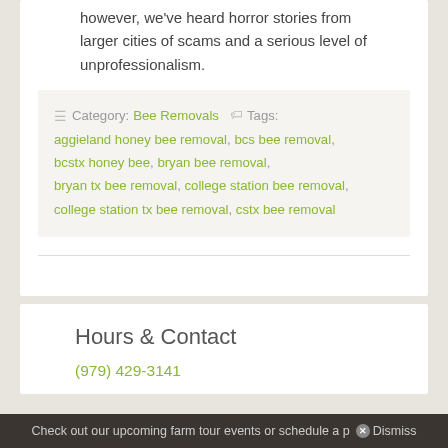however, we've heard horror stories from larger cities of scams and a serious level of unprofessionalism.
Category: Bee Removals  Tags: aggieland honey bee removal, bcs bee removal, bcstx honey bee, bryan bee removal, bryan tx bee removal, college station bee removal, college station tx bee removal, cstx bee removal
Hours & Contact
(979) 429-3141
Check out our upcoming farm tour events or schedule a p… Dismiss